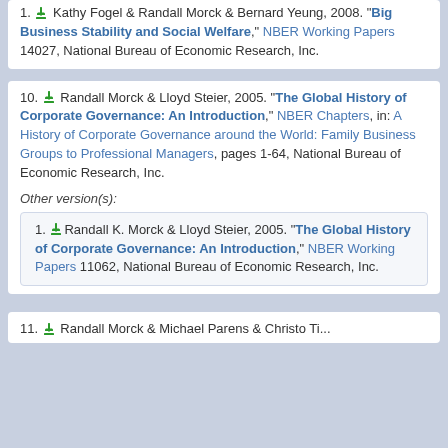1. Kathy Fogel & Randall Morck & Bernard Yeung, 2008. "Big Business Stability and Social Welfare," NBER Working Papers 14027, National Bureau of Economic Research, Inc.
10. Randall Morck & Lloyd Steier, 2005. "The Global History of Corporate Governance: An Introduction," NBER Chapters, in: A History of Corporate Governance around the World: Family Business Groups to Professional Managers, pages 1-64, National Bureau of Economic Research, Inc.
Other version(s):
1. Randall K. Morck & Lloyd Steier, 2005. "The Global History of Corporate Governance: An Introduction," NBER Working Papers 11062, National Bureau of Economic Research, Inc.
11. Randall Morck & Michael Parens & Christo Ti...